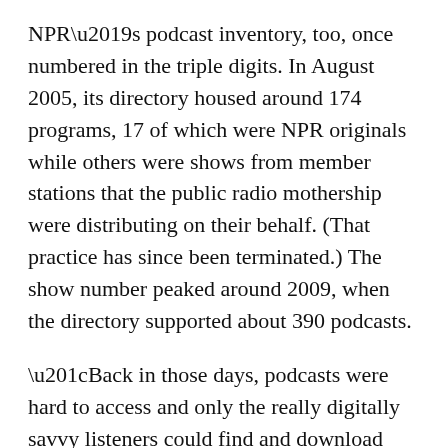NPR's podcast inventory, too, once numbered in the triple digits. In August 2005, its directory housed around 174 programs, 17 of which were NPR originals while others were shows from member stations that the public radio mothership were distributing on their behalf. (That practice has since been terminated.) The show number peaked around 2009, when the directory supported about 390 podcasts.
“Back in those days, podcasts were hard to access and only the really digitally savvy listeners could find and download them,” an NPR spokesperson told me. “We were experimenting and we were excited with the possibility of putting out NPR